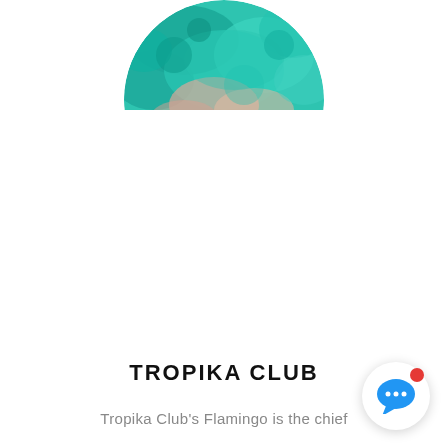[Figure (photo): Circular cropped profile image showing a teal/green abstract or nature scene with pinkish tones, partially visible at top of page]
TROPIKA CLUB
Tropika Club's Flamingo is the chief